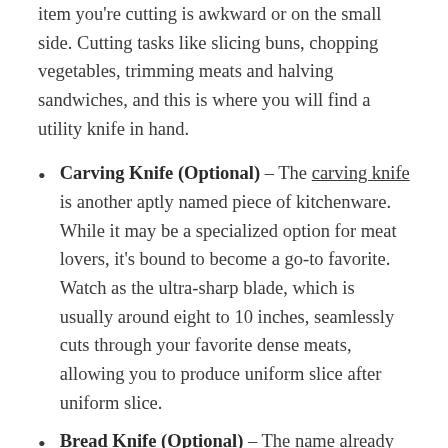item you're cutting is awkward or on the small side. Cutting tasks like slicing buns, chopping vegetables, trimming meats and halving sandwiches, and this is where you will find a utility knife in hand.
Carving Knife (Optional) – The carving knife is another aptly named piece of kitchenware. While it may be a specialized option for meat lovers, it's bound to become a go-to favorite. Watch as the ultra-sharp blade, which is usually around eight to 10 inches, seamlessly cuts through your favorite dense meats, allowing you to produce uniform slice after uniform slice.
Bread Knife (Optional) – The name already explains its duty — bread knives sport a large, serrated blade and are a must-have for bread lovers. No matter whether you're cutting